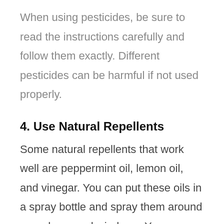When using pesticides, be sure to read the instructions carefully and follow them exactly. Different pesticides can be harmful if not used properly.
4. Use Natural Repellents
Some natural repellents that work well are peppermint oil, lemon oil, and vinegar. You can put these oils in a spray bottle and spray them around your doors and windows. You can also put them in a diffuser to keep the air smelling fresh.